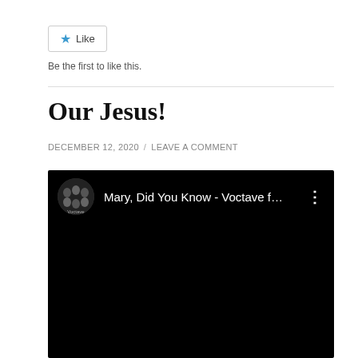Like
Be the first to like this.
Our Jesus!
DECEMBER 12, 2020 / LEAVE A COMMENT
[Figure (screenshot): Embedded YouTube video player showing 'Mary, Did You Know - Voctave f...' with a dark background, channel thumbnail on the left, video title in white text, and a three-dot menu icon on the right.]